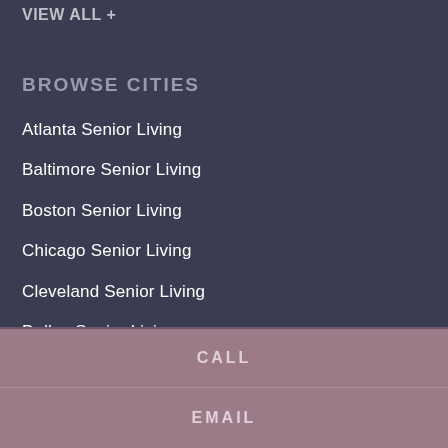VIEW ALL +
BROWSE CITIES
Atlanta Senior Living
Baltimore Senior Living
Boston Senior Living
Chicago Senior Living
Cleveland Senior Living
Dallas Senior Living
Denver Senior Living
Detroit Senior Living
CALL
EMAIL